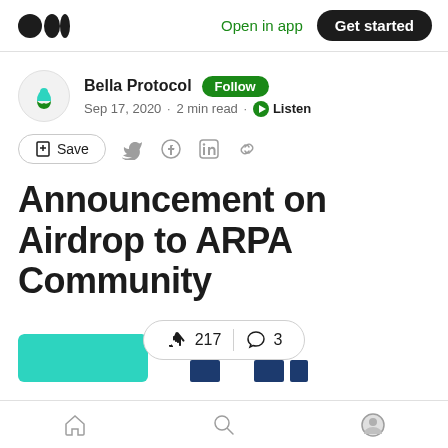Open in app · Get started
Bella Protocol Follow
Sep 17, 2020 · 2 min read · Listen
Save
Announcement on Airdrop to ARPA Community
217 claps  |  3 comments
Home · Search · Profile